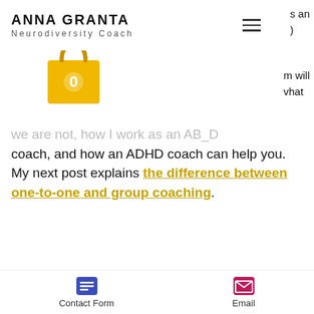ANNA GRANTA Neurodiversity Coach
[Figure (illustration): Yellow shopping bag icon with the number 0 on it]
we are not, how I work as an ADHD coach, and how an ADHD coach can help you. My next post explains the difference between one-to-one and group coaching.
[Figure (photo): Photo of two people in conversation, a woman with dark hair facing away and a man with glasses listening intently, in a bright setting with a brick wall background]
Contact Form   Email